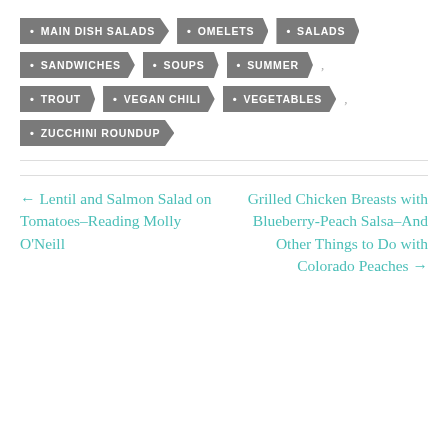MAIN DISH SALADS
OMELETS
SALADS
SANDWICHES
SOUPS
SUMMER
TROUT
VEGAN CHILI
VEGETABLES
ZUCCHINI ROUNDUP
← Lentil and Salmon Salad on Tomatoes–Reading Molly O'Neill
Grilled Chicken Breasts with Blueberry-Peach Salsa–And Other Things to Do with Colorado Peaches →